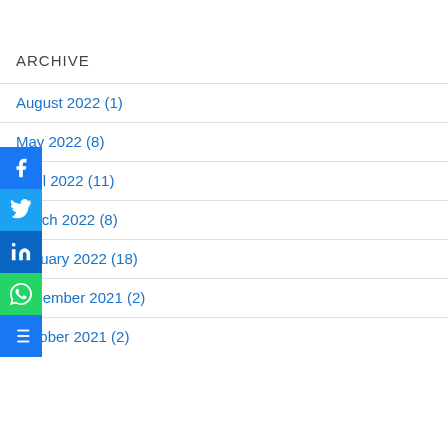ARCHIVE
August 2022 (1)
May 2022 (8)
April 2022 (11)
March 2022 (8)
January 2022 (18)
December 2021 (2)
October 2021 (2)